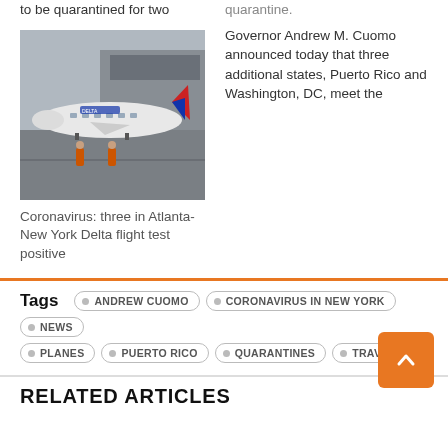to be quarantined for two
quarantine. Governor Andrew M. Cuomo announced today that three additional states, Puerto Rico and Washington, DC, meet the
[Figure (photo): Delta Airlines aircraft on tarmac with two ground crew workers in orange vests]
Coronavirus: three in Atlanta-New York Delta flight test positive
Tags  ANDREW CUOMO  CORONAVIRUS IN NEW YORK  NEWS  PLANES  PUERTO RICO  QUARANTINES  TRAVEL
RELATED ARTICLES